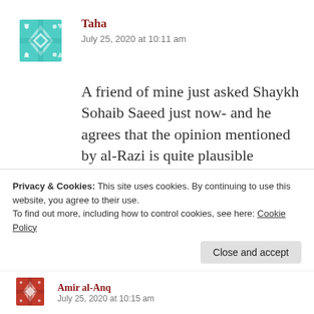[Figure (illustration): Teal geometric/mosaic avatar icon for user Taha]
Taha
July 25, 2020 at 10:11 am
A friend of mine just asked Shaykh Sohaib Saeed just now- and he agrees that the opinion mentioned by al-Razi is quite plausible grammatically. I think if it falls in line with actual Jewish law, I think that's enough justification to interpret it that way.
Privacy & Cookies: This site uses cookies. By continuing to use this website, you agree to their use.
To find out more, including how to control cookies, see here: Cookie Policy
Close and accept
[Figure (illustration): Red geometric/mosaic avatar icon for next commenter Amir al-Anq]
Amir al-Anq
July 25, 2020 at 10:15 am